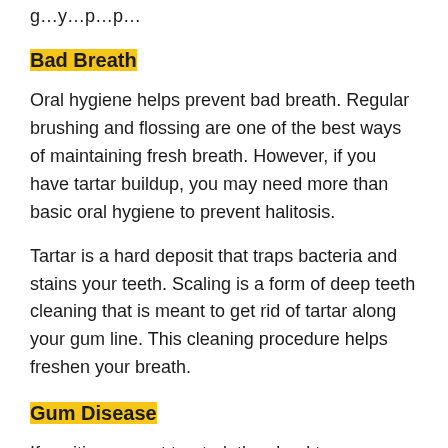g…y…p…p…
Bad Breath
Oral hygiene helps prevent bad breath. Regular brushing and flossing are one of the best ways of maintaining fresh breath. However, if you have tartar buildup, you may need more than basic oral hygiene to prevent halitosis.
Tartar is a hard deposit that traps bacteria and stains your teeth. Scaling is a form of deep teeth cleaning that is meant to get rid of tartar along your gum line. This cleaning procedure helps freshen your breath.
Gum Disease
If cavities are not treated, they lead to gum disease. The first sign of gum disease is receding gums. This is when the gum tissue pulls away from your teeth. Periodontal pockets are also a sign of gum disease because they provide a breeding place for plaque. Eventually, your teeth